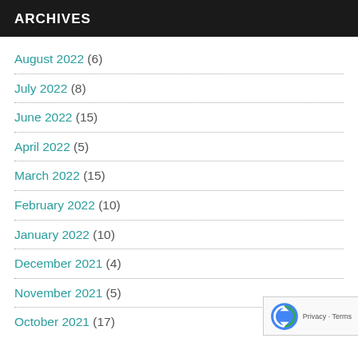ARCHIVES
August 2022 (6)
July 2022 (8)
June 2022 (15)
April 2022 (5)
March 2022 (15)
February 2022 (10)
January 2022 (10)
December 2021 (4)
November 2021 (5)
October 2021 (17)